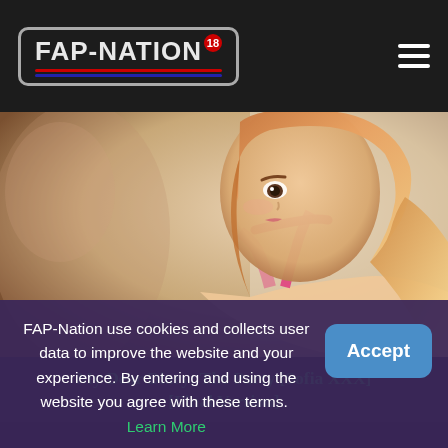FAP-NATION (logo with 18 badge)
[Figure (illustration): 3D rendered anime-style young woman with long reddish-brown hair, wearing a pink bikini top and pink choker necklace, looking down. Close-up portrait-style digital art.]
My Dear Diary: The Party [Sofia XXX] [Final Version]
FAP-Nation use cookies and collects user data to improve the website and your experience. By entering and using the website you agree with these terms.  Learn More